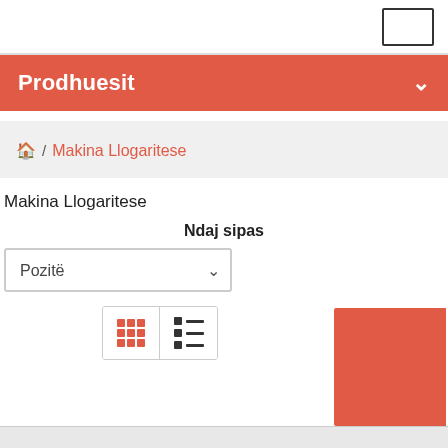Prodhuesit
🏠 / Makina Llogaritese
Makina Llogaritese
Ndaj sipas
Pozitë
[Figure (screenshot): View toggle buttons: grid view (orange 3x3 dots) and list view (black squares with lines), plus a red decorative box at bottom right]